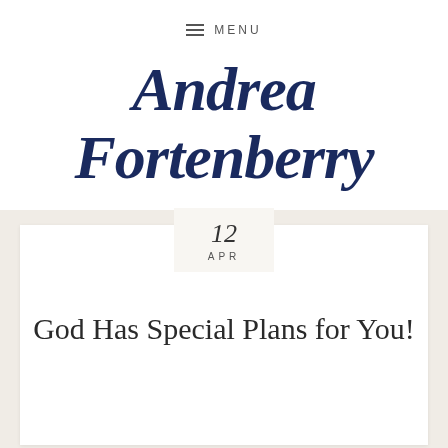≡ MENU
Andrea Fortenberry
12
APR
God Has Special Plans for You!